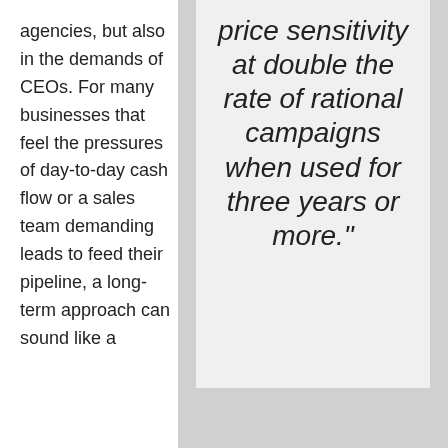agencies, but also in the demands of CEOs. For many businesses that feel the pressures of day-to-day cash flow or a sales team demanding leads to feed their pipeline, a long-term approach can sound like a
price sensitivity at double the rate of rational campaigns when used for three years or more."